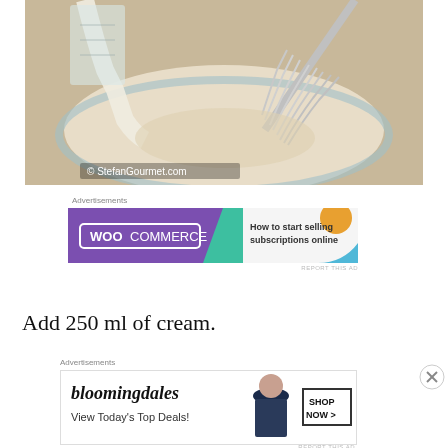[Figure (photo): A glass mixing bowl with cream batter and a whisk, with cream being poured in. Copyright StefanGourmet.com watermark in bottom-left.]
Advertisements
[Figure (other): WooCommerce advertisement banner: purple background with WooCommerce logo and text 'How to start selling subscriptions online']
REPORT THIS AD
Add 250 ml of cream.
Advertisements
[Figure (other): Bloomingdale's advertisement banner with woman in wide-brim hat, text 'View Today's Top Deals!' and 'SHOP NOW >' button]
REPORT THIS AD